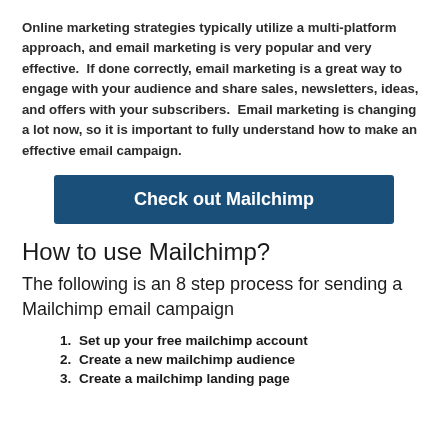Online marketing strategies typically utilize a multi-platform approach, and email marketing is very popular and very effective. If done correctly, email marketing is a great way to engage with your audience and share sales, newsletters, ideas, and offers with your subscribers. Email marketing is changing a lot now, so it is important to fully understand how to make an effective email campaign.
[Figure (other): Blue button with text 'Check out Mailchimp']
How to use Mailchimp?
The following is an 8 step process for sending a Mailchimp email campaign
1. Set up your free mailchimp account
2. Create a new mailchimp audience
3. Create a mailchimp landing page